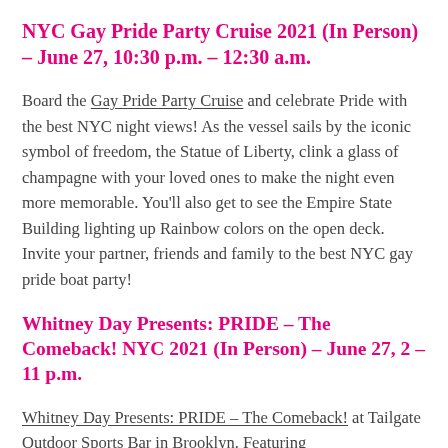NYC Gay Pride Party Cruise 2021 (In Person) – June 27, 10:30 p.m. – 12:30 a.m.
Board the Gay Pride Party Cruise and celebrate Pride with the best NYC night views! As the vessel sails by the iconic symbol of freedom, the Statue of Liberty, clink a glass of champagne with your loved ones to make the night even more memorable. You'll also get to see the Empire State Building lighting up Rainbow colors on the open deck. Invite your partner, friends and family to the best NYC gay pride boat party!
Whitney Day Presents: PRIDE – The Comeback! NYC 2021 (In Person) – June 27, 2 – 11 p.m.
Whitney Day Presents: PRIDE – The Comeback! at Tailgate Outdoor Sports Bar in Brooklyn. Featuring